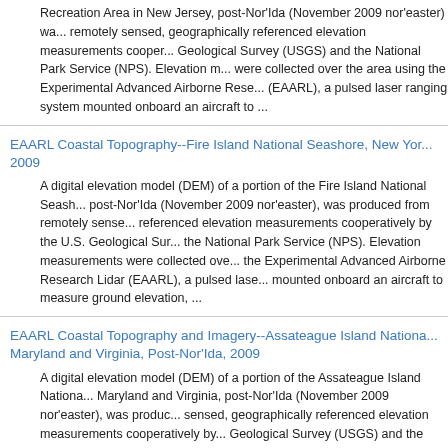Recreation Area in New Jersey, post-Nor'Ida (November 2009 nor'easter) was remotely sensed, geographically referenced elevation measurements cooperatively by the U.S. Geological Survey (USGS) and the National Park Service (NPS). Elevation measurements were collected over the area using the Experimental Advanced Airborne Research Lidar (EAARL), a pulsed laser ranging system mounted onboard an aircraft to ...
EAARL Coastal Topography--Fire Island National Seashore, New York, 2009
A digital elevation model (DEM) of a portion of the Fire Island National Seashore, post-Nor'Ida (November 2009 nor'easter), was produced from remotely sensed, geographically referenced elevation measurements cooperatively by the U.S. Geological Survey (USGS) and the National Park Service (NPS). Elevation measurements were collected over the area using the Experimental Advanced Airborne Research Lidar (EAARL), a pulsed laser ranging system mounted onboard an aircraft to measure ground elevation, ...
EAARL Coastal Topography and Imagery--Assateague Island National Seashore, Maryland and Virginia, Post-Nor'Ida, 2009
A digital elevation model (DEM) of a portion of the Assateague Island National Seashore, Maryland and Virginia, post-Nor'Ida (November 2009 nor'easter), was produced from remotely sensed, geographically referenced elevation measurements cooperatively by the U.S. Geological Survey (USGS) and the National Park Service (NPS). Elevation measurements were collected over the area using the Experimental Advanced Airborne Research Lidar (EAARL), a pulsed laser ranging system mounted onboard an aircraft to mea...
EAARL Coastal Topography--Eastern Louisiana Barrier Islands, Post-...